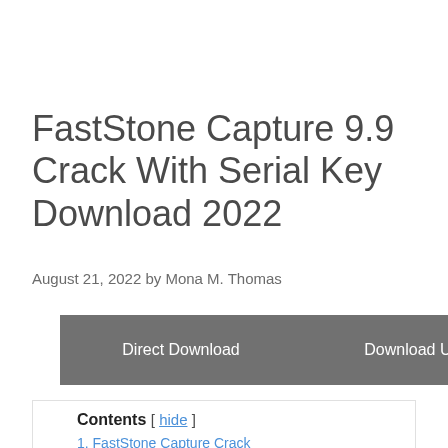FastStone Capture 9.9 Crack With Serial Key Download 2022
August 21, 2022 by Mona M. Thomas
[Figure (other): Two download buttons: 'Direct Download' and 'Download USA Link', both styled with dark grey background and white text.]
Contents [ hide ]
1. FastStone Capture Crack